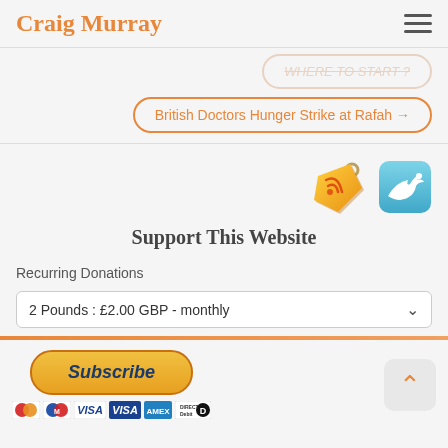Craig Murray
British Doctors Hunger Strike at Rafah →
[Figure (illustration): Orange price tag icon with RSS-like symbol and blue Twitter bird icon in rounded square]
Support This Website
Recurring Donations
2 Pounds : £2.00 GBP - monthly
Subscribe
[Figure (illustration): Payment method icons: MasterCard, Maestro, Visa, Visa Electron, American Express, Direct Debit]